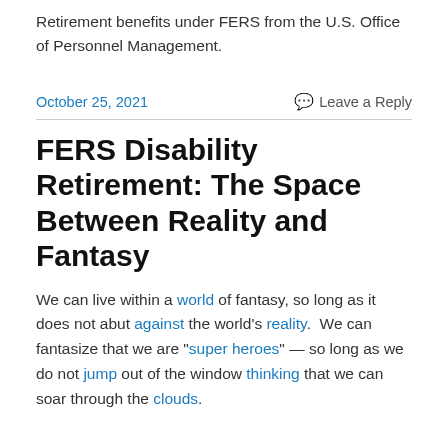Retirement benefits under FERS from the U.S. Office of Personnel Management.
October 25, 2021    Leave a Reply
FERS Disability Retirement: The Space Between Reality and Fantasy
We can live within a world of fantasy, so long as it does not abut against the world’s reality.  We can fantasize that we are “super heroes” — so long as we do not jump out of the window thinking that we can soar through the clouds.